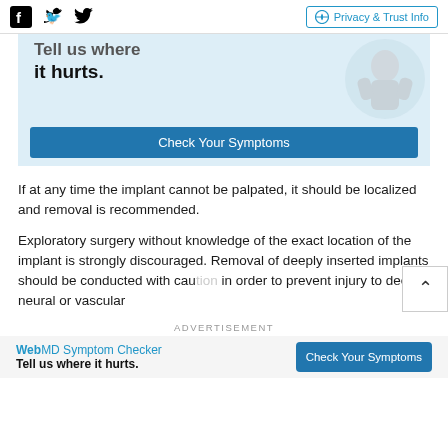Facebook Twitter | Privacy & Trust Info
[Figure (infographic): WebMD Symptom Checker advertisement banner showing partial text 'Tell us where it hurts.' with a 3D figure and a blue 'Check Your Symptoms' button]
If at any time the implant cannot be palpated, it should be localized and removal is recommended.
Exploratory surgery without knowledge of the exact location of the implant is strongly discouraged. Removal of deeply inserted implants should be conducted with caution in order to prevent injury to deeper neural or vascular
ADVERTISEMENT
[Figure (infographic): WebMD Symptom Checker bottom advertisement: 'Tell us where it hurts.' with blue 'Check Your Symptoms' button]